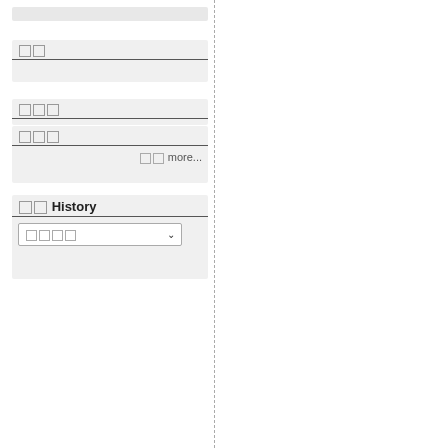[Figure (screenshot): Gray bar placeholder at top of left panel]
□□
□□□
□□ more...
□□ History
□□□□ (dropdown)